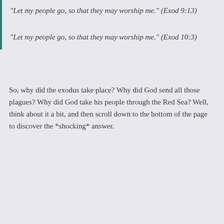“Let my people go, so that they may worship me.” (Exod 9:13)
“Let my people go, so that they may worship me.” (Exod 10:3)
So, why did the exodus take place? Why did God send all those plagues? Why did God take his people through the Red Sea? Well, think about it a bit, and then scroll down to the bottom of the page to discover the *shocking* answer.